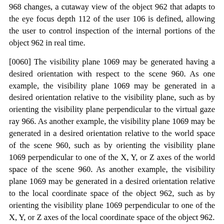968 changes, a cutaway view of the object 962 that adapts to the eye focus depth 112 of the user 106 is defined, allowing the user to control inspection of the internal portions of the object 962 in real time.
[0060] The visibility plane 1069 may be generated having a desired orientation with respect to the scene 960. As one example, the visibility plane 1069 may be generated in a desired orientation relative to the visibility plane, such as by orienting the visibility plane perpendicular to the virtual gaze ray 966. As another example, the visibility plane 1069 may be generated in a desired orientation relative to the world space of the scene 960, such as by orienting the visibility plane 1069 perpendicular to one of the X, Y, or Z axes of the world space of the scene 960. As another example, the visibility plane 1069 may be generated in a desired orientation relative to the local coordinate space of the object 962, such as by orienting the visibility plane 1069 perpendicular to one of the X, Y, or Z axes of the local coordinate space of the object 962.